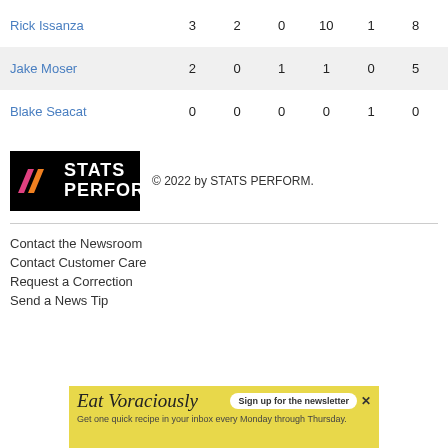| Player |  |  |  |  |  |  |
| --- | --- | --- | --- | --- | --- | --- |
| Rick Issanza | 3 | 2 | 0 | 10 | 1 | 8 |
| Jake Moser | 2 | 0 | 1 | 1 | 0 | 5 |
| Blake Seacat | 0 | 0 | 0 | 0 | 1 | 0 |
[Figure (logo): STATS PERFORM logo - black background with pink/orange slash marks and white bold text reading STATS PERFORM]
© 2022 by STATS PERFORM.
Contact the Newsroom
Contact Customer Care
Request a Correction
Send a News Tip
[Figure (infographic): Advertisement banner: Eat Voraciously - Sign up for the newsletter. Get one quick recipe in your inbox every Monday through Thursday.]